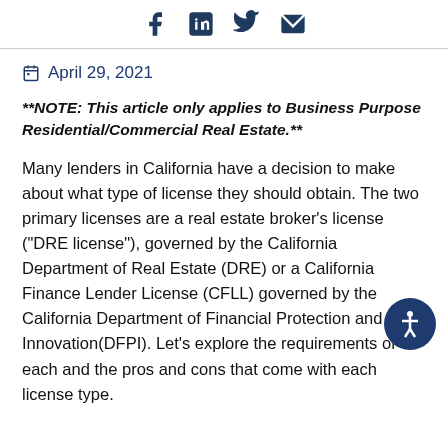Social share icons: Facebook, LinkedIn, Twitter, Email
April 29, 2021
**NOTE: This article only applies to Business Purpose Residential/Commercial Real Estate.**
Many lenders in California have a decision to make about what type of license they should obtain. The two primary licenses are a real estate broker’s license (“DRE license”), governed by the California Department of Real Estate (DRE) or a California Finance Lender License (CFLL) governed by the California Department of Financial Protection and Innovation(DFPI). Let’s explore the requirements of each and the pros and cons that come with each license type.